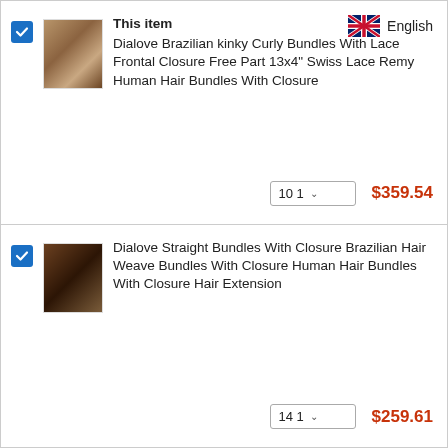| Select | Image | Item | Qty | Price |
| --- | --- | --- | --- | --- |
| checked | product image | This item
Dialove Brazilian kinky Curly Bundles With Lace Frontal Closure Free Part 13x4" Swiss Lace Remy Human Hair Bundles With Closure | 10 1 | $359.54 |
| checked | product image | Dialove Straight Bundles With Closure Brazilian Hair Weave Bundles With Closure Human Hair Bundles With Closure Hair Extension | 14 1 | $259.61 |
[Figure (illustration): UK flag icon with 'English' label in top right corner of first row]